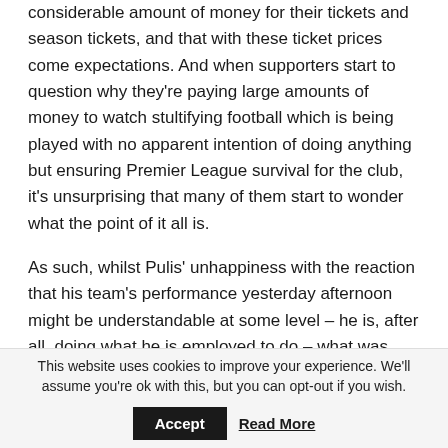considerable amount of money for their tickets and season tickets, and that with these ticket prices come expectations. And when supporters start to question why they're paying large amounts of money to watch stultifying football which is being played with no apparent intention of doing anything but ensuring Premier League survival for the club, it's unsurprising that many of them start to wonder what the point of it all is.
As such, whilst Pulis' unhappiness with the reaction that his team's performance yesterday afternoon might be understandable at some level – he is, after all, doing what he is employed to do – what was also
This website uses cookies to improve your experience. We'll assume you're ok with this, but you can opt-out if you wish. Accept Read More